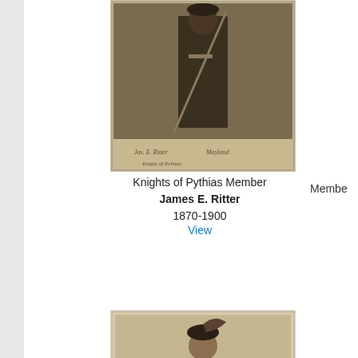[Figure (photo): Sepia photograph of a man in Knights of Pythias uniform holding a sword or staff, with handwritten caption at bottom]
Knights of Pythias Member
James E. Ritter
1870-1900
View
[Figure (photo): Sepia photograph of a man in Masonic Knights Templar uniform standing full-length, with handwritten caption at bottom]
Masonic Knights Templar Member
James
1870-1900